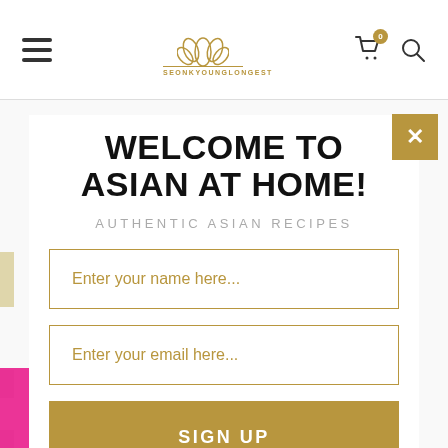[Figure (screenshot): Website navigation bar with hamburger menu, lotus flower logo with text SEONKYOUNGLONGEST, shopping cart icon with badge showing 0, and search icon]
WELCOME TO ASIAN AT HOME!
AUTHENTIC ASIAN RECIPES
Enter your name here...
Enter your email here...
SIGN UP